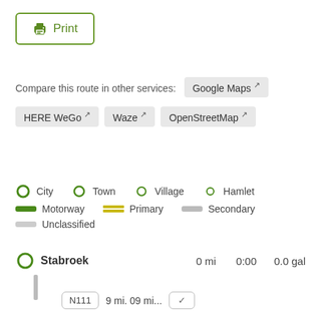[Figure (illustration): Print button with green printer icon and green border]
Compare this route in other services:
Google Maps ↗
HERE WeGo ↗   Waze ↗   OpenStreetMap ↗
[Figure (infographic): Map legend showing City, Town, Village, Hamlet with green circle icons; Motorway (dark green bar), Primary (yellow double bar), Secondary (grey bar), Unclassified (light grey bar)]
Stabroek   0 mi   0:00   0.0 gal
N111   9 mi. 09 mi...